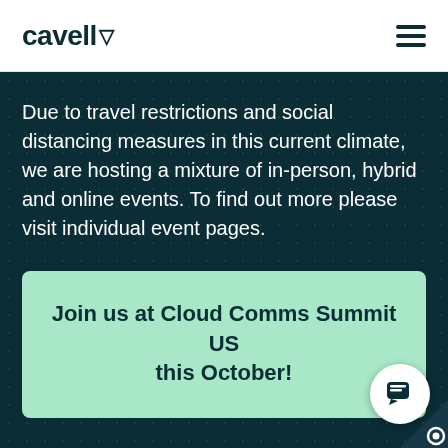cavell
Due to travel restrictions and social distancing measures in this current climate, we are hosting a mixture of in-person, hybrid and online events. To find out more please visit individual event pages.
Join us at Cloud Comms Summit US this October!